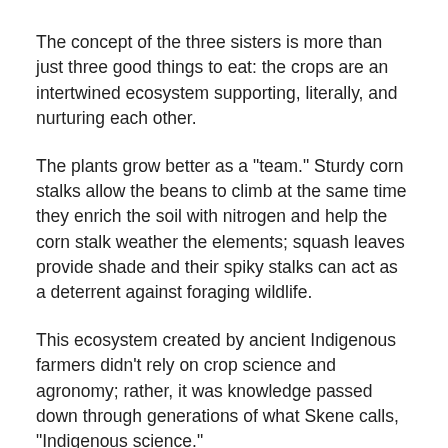The concept of the three sisters is more than just three good things to eat: the crops are an intertwined ecosystem supporting, literally, and nurturing each other.
The plants grow better as a "team." Sturdy corn stalks allow the beans to climb at the same time they enrich the soil with nitrogen and help the corn stalk weather the elements; squash leaves provide shade and their spiky stalks can act as a deterrent against foraging wildlife.
This ecosystem created by ancient Indigenous farmers didn't rely on crop science and agronomy; rather, it was knowledge passed down through generations of what Skene calls, "Indigenous science."